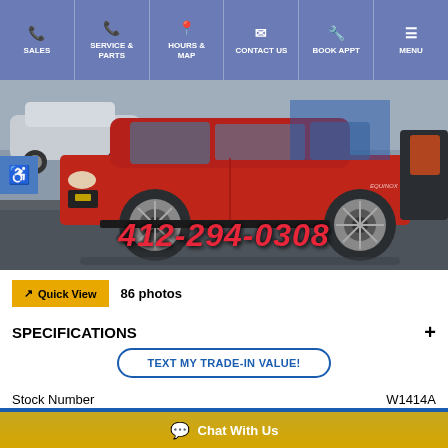SALES | SERVICE & PARTS | HOURS & MAP | CONTACT US | BOOK APPT | MENU
[Figure (photo): Red Chevrolet Equinox SUV parked in a dealership lot, displayed with phone number 412-294-0308 overlaid on the image]
Quick View  86 photos
SPECIFICATIONS
TEXT MY TRADE-IN VALUE!
|  |  |
| --- | --- |
| Stock Number | W1414A |
| Miles | 42,044 |
Chat With Us